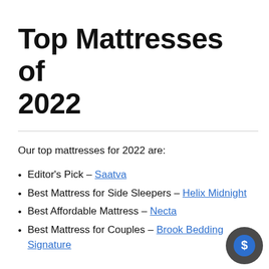Top Mattresses of 2022
Our top mattresses for 2022 are:
Editor's Pick – Saatva
Best Mattress for Side Sleepers – Helix Midnight
Best Affordable Mattress – Necta
Best Mattress for Couples – Brook Bedding Signature